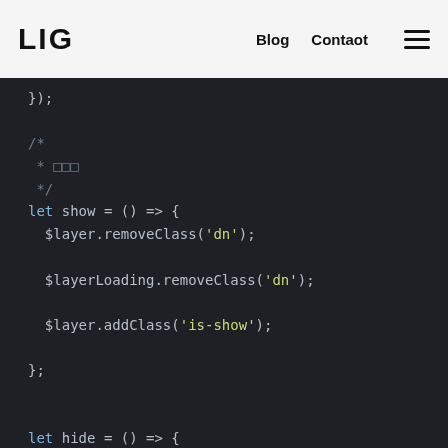LIG  Blog  Contact
[Figure (screenshot): Screenshot of a dark-themed code editor showing JavaScript code with a show() and hide() arrow function using jQuery-style $layer and $layerLoading class manipulations.]